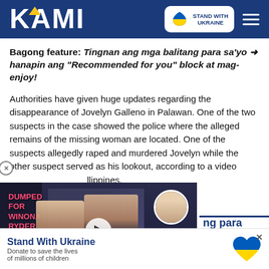KAMI — Stand With Ukraine
Bagong feature: Tingnan ang mga balitang para sa'yo → hanapin ang "Recommended for you" block at mag-enjoy!
Authorities have given huge updates regarding the disappearance of Jovelyn Galleno in Palawan. One of the two suspects in the case showed the police where the alleged remains of the missing woman are located. One of the suspects allegedly raped and murdered Jovelyn while the other suspect served as his lookout, according to a video [Philippines].
[Figure (screenshot): Video thumbnail overlay showing two people and text 'DUMPED FOR WINONA RYDER' with a play button]
ng para matukoy kung
[Figure (infographic): Stand With Ukraine donation banner with blue and yellow heart logo. Text: Stand With Ukraine. Donate to save the lives of millions of children]